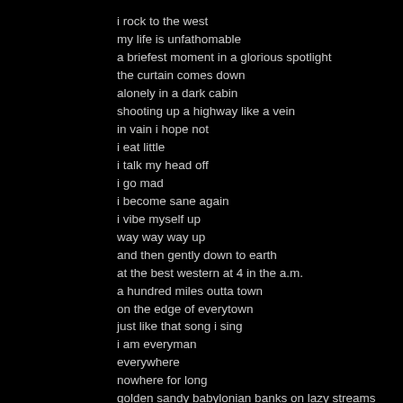i rock to the west
my life is unfathomable
a briefest moment in a glorious spotlight
the curtain comes down
alonely in a dark cabin
shooting up a highway like a vein
in vain i hope not
i eat little
i talk my head off
i go mad
i become sane again
i vibe myself up
way way way up
and then gently down to earth
at the best western at 4 in the a.m.
a hundred miles outta town
on the edge of everytown
just like that song i sing
i am everyman
everywhere
nowhere for long
golden sandy babylonian banks on lazy streams
[and latino mountaintops the dirt…]